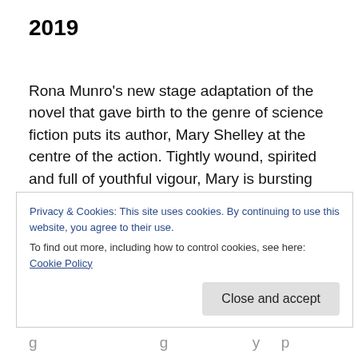2019
Rona Munro’s new stage adaptation of the novel that gave birth to the genre of science fiction puts its author, Mary Shelley at the centre of the action.  Tightly wound, spirited and full of youthful vigour, Mary is bursting with creativity as, before our very eyes, she rights the book that will render her immortal.   She narrates, breaks the fourth wall, and even collaborates with her characters as she starts and stone the story   we  of course  know how it will turn
Privacy & Cookies: This site uses cookies. By continuing to use this website, you agree to their use.
To find out more, including how to control cookies, see here: Cookie Policy
Close and accept